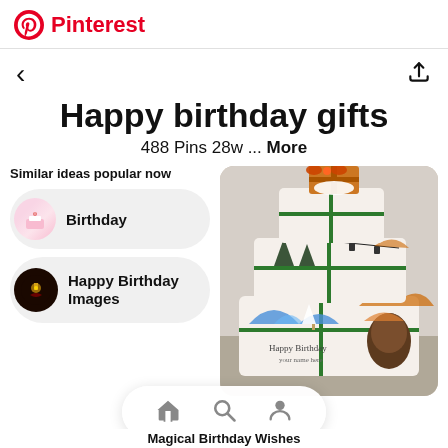Pinterest
Happy birthday gifts
488 Pins 28w ... More
Similar ideas popular now
Birthday
Happy Birthday Images
[Figure (photo): Multi-tier birthday cake with painted winter scenes and green ribbon decoration, text 'Happy Birthday' on it]
Magical Birthday Wishes